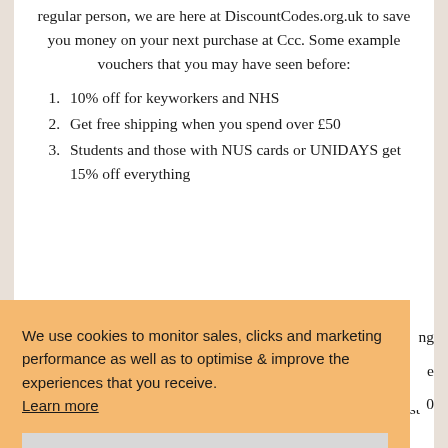regular person, we are here at DiscountCodes.org.uk to save you money on your next purchase at Ccc. Some example vouchers that you may have seen before:
10% off for keyworkers and NHS
Get free shipping when you spend over £50
Students and those with NUS cards or UNIDAYS get 15% off everything
We use cookies to monitor sales, clicks and marketing performance as well as to optimise & improve the experiences that you receive. Learn more
GOT IT!
money saving offers for Ccc and thousands